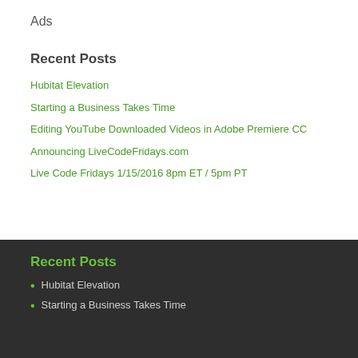Ads
Recent Posts
Hubitat Elevation
Starting a Business Takes Time
Editing YouTube Downloaded Videos in Adobe Premiere CC
Announcing LiveCodeFridays.com
Live Code Fridays 1/15/2016 8pm ET / 5pm PT
Recent Posts
Hubitat Elevation
Starting a Business Takes Time